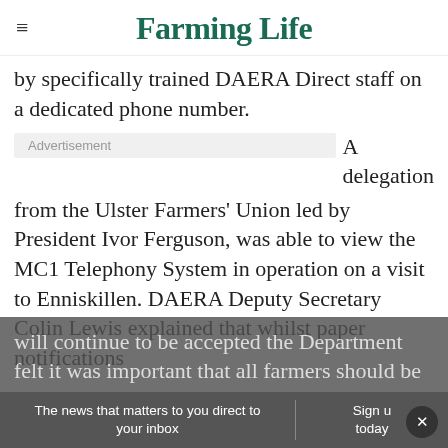Farming Life
by specifically trained DAERA Direct staff on a dedicated phone number.
A delegation from the Ulster Farmers' Union led by President Ivor Ferguson, was able to view the MC1 Telephony System in operation on a visit to Enniskillen. DAERA Deputy Secretary Colin Lewis explained that whilst paper notifications will continue to be accepted the Department felt it was important that all farmers should be
The news that matters to you direct to your inbox | Sign up today